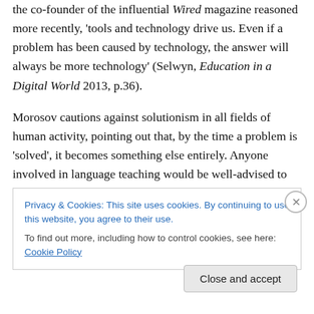the co-founder of the influential Wired magazine reasoned more recently, 'tools and technology drive us. Even if a problem has been caused by technology, the answer will always be more technology' (Selwyn, Education in a Digital World 2013, p.36).
Morosov cautions against solutionism in all fields of human activity, pointing out that, by the time a problem is 'solved', it becomes something else entirely. Anyone involved in language teaching would be well-advised to identify and prioritise the problems that matter to them before jumping to the conclusion that adaptive learning is
Privacy & Cookies: This site uses cookies. By continuing to use this website, you agree to their use.
To find out more, including how to control cookies, see here: Cookie Policy
Close and accept